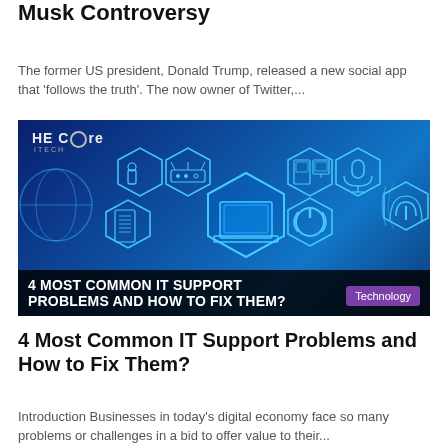Musk Controversy
The former US president, Donald Trump, released a new social app that 'follows the truth'. The now owner of Twitter,...
[Figure (photo): Tech-themed banner image with blue hexagonal icons showing technology devices (laptop, router, phone, monitor, microphone, power button, globe) with 'HE CORE ITECH' logo. Overlay text reads '4 MOST COMMON IT SUPPORT PROBLEMS AND HOW TO FIX THEM?' with a purple 'Technology' tag.]
4 Most Common IT Support Problems and How to Fix Them?
Introduction Businesses in today's digital economy face so many problems or challenges in a bid to offer value to their...